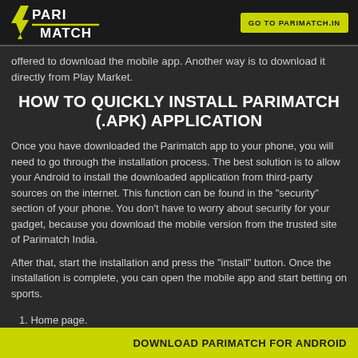[Figure (logo): Parimatch logo — yellow lightning bolt with PARI/MATCH text on dark background]
GO TO PARIMATCH.IN
offered to download the mobile app. Another way is to download it directly from Play Market.
HOW TO QUICKLY INSTALL PARIMATCH (.APK) APPLICATION
Once you have downloaded the Parimatch app to your phone, you will need to go through the installation process. The best solution is to allow your Android to install the downloaded application from third-party sources on the internet. This function can be found in the "security" section of your phone. You don't have to worry about security for your gadget, because you download the mobile version from the trusted site of Parimatch India.
After that, start the installation and press the "install" button. Once the installation is complete, you can open the mobile app and start betting on sports.
The Parimatch apk is very handy and easy to use in practice. The necessary commands for convenient betting are left here. A simple menu of a number of items is provided for betting:
1. Home page.
DOWNLOAD PARIMATCH FOR ANDROID